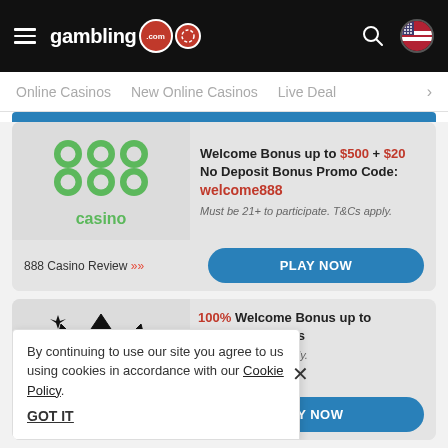gambling.com
Online Casinos | New Online Casinos | Live Deals
Welcome Bonus up to $500 + $20 No Deposit Bonus Promo Code: welcome888
Must be 21+ to participate. T&Cs apply.
888 Casino Review >>
PLAY NOW
100% Welcome Bonus up to [amount] in Site Credits
[...] participate. T&Cs apply.
AY NOW
By continuing to use our site you agree to us using cookies in accordance with our Cookie Policy.
GOT IT